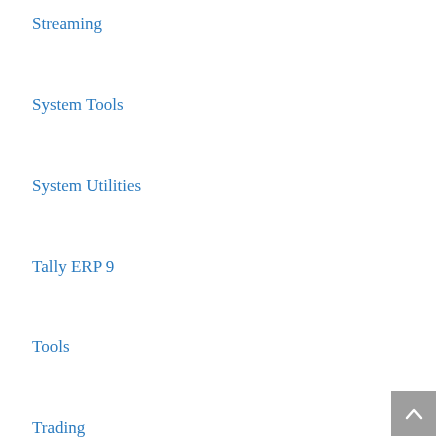Streaming
System Tools
System Utilities
Tally ERP 9
Tools
Trading
UltraEdit
Uncategorized
uninstaller
Utilitie
Utilities
Utility
Video Converter